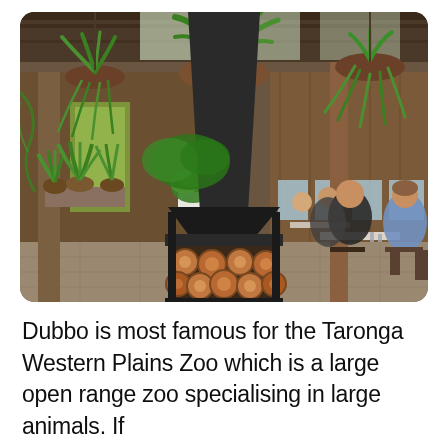[Figure (photo): Interior of a lush garden restaurant/café with hanging ferns and potted plants suspended from the ceiling, a large black metal fireplace/chimney in the center with firewood stacked beneath it, wooden structural poles, and several people seated at tables dining. The space has a rustic, tropical feel with abundant greenery.]
Dubbo is most famous for the Taronga Western Plains Zoo which is a large open range zoo specialising in large animals. If